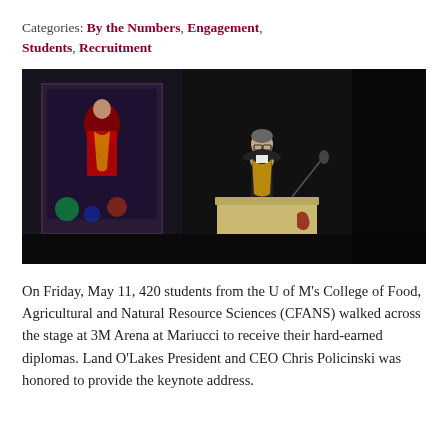Categories: By the Numbers, Engagement, Students, Recruitment
[Figure (photo): A person in academic regalia (black graduation gown with gold hood) stands at a podium speaking at a graduation ceremony. In the background, a large screen shows another person in red regalia. The setting is a dark arena.]
On Friday, May 11, 420 students from the U of M's College of Food, Agricultural and Natural Resource Sciences (CFANS) walked across the stage at 3M Arena at Mariucci to receive their hard-earned diplomas. Land O'Lakes President and CEO Chris Policinski was honored to provide the keynote address.